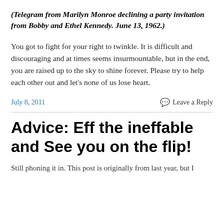(Telegram from Marilyn Monroe declining a party invitation from Bobby and Ethel Kennedy. June 13, 1962.)
You got to fight for your right to twinkle. It is difficult and discouraging and at times seems insurmountable, but in the end, you are raised up to the sky to shine forever. Please try to help each other out and let's none of us lose heart.
July 8, 2011
Leave a Reply
Advice: Eff the ineffable and See you on the flip!
Still phoning it in. This post is originally from last year, but I